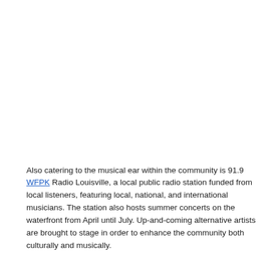Also catering to the musical ear within the community is 91.9 WFPK Radio Louisville, a local public radio station funded from local listeners, featuring local, national, and international musicians. The station also hosts summer concerts on the waterfront from April until July. Up-and-coming alternative artists are brought to stage in order to enhance the community both culturally and musically.